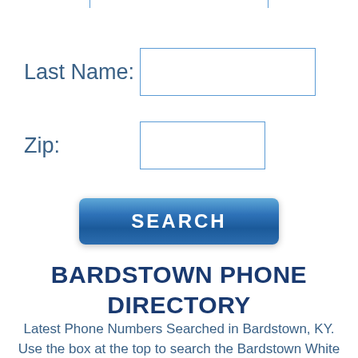[Figure (screenshot): Partial input field visible at the very top of the page, cropped from above]
Last Name:
[Figure (screenshot): Input text field for Last Name]
Zip:
[Figure (screenshot): Input text field for Zip code]
[Figure (screenshot): SEARCH button]
BARDSTOWN PHONE DIRECTORY
Latest Phone Numbers Searched in Bardstown, KY. Use the box at the top to search the Bardstown White Pages for the owner of any phone #.